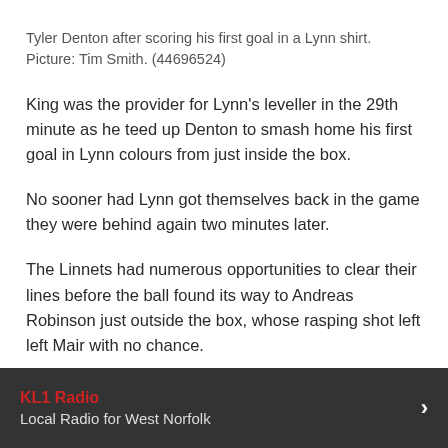Tyler Denton after scoring his first goal in a Lynn shirt. Picture: Tim Smith. (44696524)
King was the provider for Lynn's leveller in the 29th minute as he teed up Denton to smash home his first goal in Lynn colours from just inside the box.
No sooner had Lynn got themselves back in the game they were behind again two minutes later.
The Linnets had numerous opportunities to clear their lines before the ball found its way to Andreas Robinson just outside the box, whose rasping shot left left Mair with no chance.
It was inevitable there would be another goal and it took a
KL1 Radio
Local Radio for West Norfolk